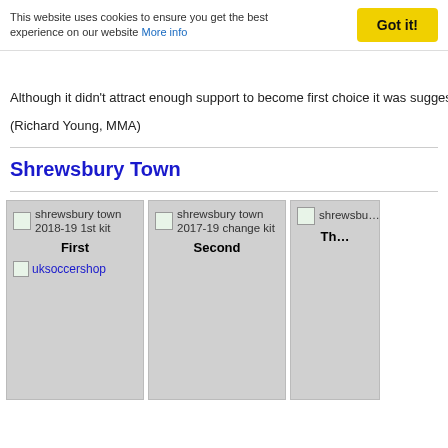This website uses cookies to ensure you get the best experience on our website More info
Although it didn't attract enough support to become first choice it was sugges…
(Richard Young, MMA)
Shrewsbury Town
[Figure (photo): shrewsbury town 2018-19 1st kit — First, with uksoccershop link]
[Figure (photo): shrewsbury town 2017-19 change kit — Second]
[Figure (photo): shrewsbury town 3r… — Th…]